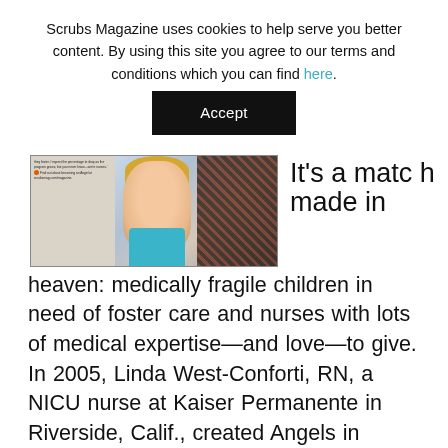Scrubs Magazine uses cookies to help serve you better content. By using this site you agree to our terms and conditions which you can find here.
Accept
[Figure (photo): Magazine page spread showing a smiling young girl in a teal shirt alongside an adult in a patterned sweater, with text about Angels in Waiting foster program on the left side.]
It's a match made in heaven: medically fragile children in need of foster care and nurses with lots of medical expertise—and love—to give. In 2005, Linda West-Conforti, RN, a NICU nurse at Kaiser Permanente in Riverside, Calif., created Angels in Waiting, a nonprofit national organization that enables nurses to foster children who might otherwise end up in group homes without any semblance of a normal life (let alone the specialized